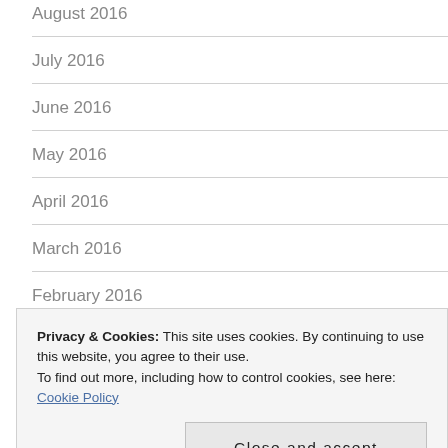August 2016
July 2016
June 2016
May 2016
April 2016
March 2016
February 2016
January 2016
December 2015
Privacy & Cookies: This site uses cookies. By continuing to use this website, you agree to their use.
To find out more, including how to control cookies, see here: Cookie Policy
August 2015